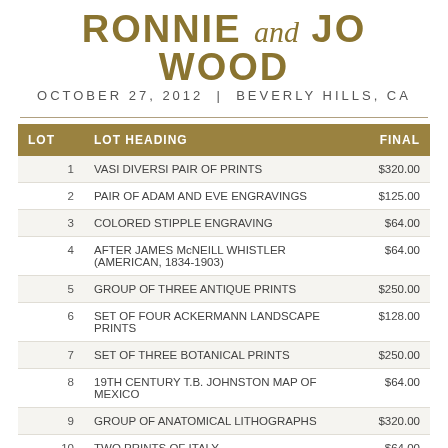RONNIE and JO WOOD
OCTOBER 27, 2012 | BEVERLY HILLS, CA
| LOT | LOT HEADING | FINAL |
| --- | --- | --- |
| 1 | VASI DIVERSI PAIR OF PRINTS | $320.00 |
| 2 | PAIR OF ADAM AND EVE ENGRAVINGS | $125.00 |
| 3 | COLORED STIPPLE ENGRAVING | $64.00 |
| 4 | AFTER JAMES McNEILL WHISTLER (AMERICAN, 1834-1903) | $64.00 |
| 5 | GROUP OF THREE ANTIQUE PRINTS | $250.00 |
| 6 | SET OF FOUR ACKERMANN LANDSCAPE PRINTS | $128.00 |
| 7 | SET OF THREE BOTANICAL PRINTS | $250.00 |
| 8 | 19TH CENTURY T.B. JOHNSTON MAP OF MEXICO | $64.00 |
| 9 | GROUP OF ANATOMICAL LITHOGRAPHS | $320.00 |
| 10 | TWO PRINTS OF ITALY | $64.00 |